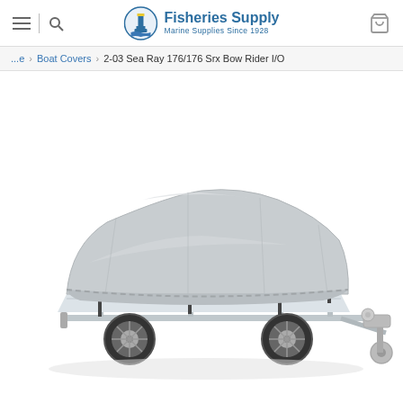Fisheries Supply — Marine Supplies Since 1928
...e > Boat Covers > 2-03 Sea Ray 176/176 Srx Bow Rider I/O
[Figure (photo): A gray boat cover fitted over a small motorboat sitting on a single-axle trailer with silver wheels, displayed on a white background.]